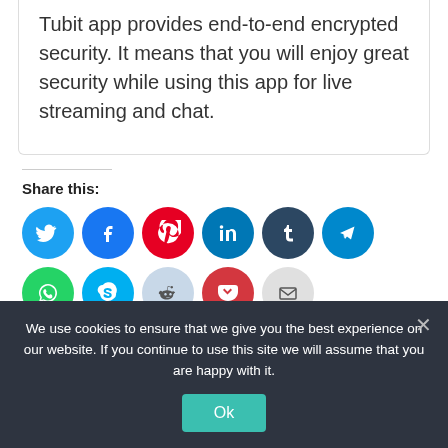Tubit app provides end-to-end encrypted security. It means that you will enjoy great security while using this app for live streaming and chat.
Share this:
[Figure (infographic): Row of social media share icon buttons: Twitter (blue), Facebook (dark blue), Pinterest (red), LinkedIn (teal-blue), Tumblr (dark navy), Telegram (blue), WhatsApp (green), Skype (light blue), Reddit (light blue-grey), Pocket (red), Email (grey)]
We use cookies to ensure that we give you the best experience on our website. If you continue to use this site we will assume that you are happy with it.